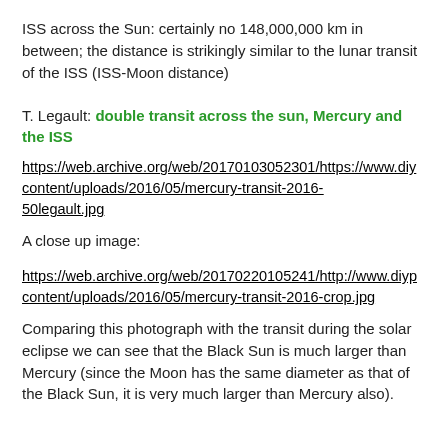ISS across the Sun: certainly no 148,000,000 km in between; the distance is strikingly similar to the lunar transit of the ISS (ISS-Moon distance)
T. Legault: double transit across the sun, Mercury and the ISS
https://web.archive.org/web/20170103052301/https://www.diy content/uploads/2016/05/mercury-transit-2016-50legault.jpg
A close up image:
https://web.archive.org/web/20170220105241/http://www.diyp content/uploads/2016/05/mercury-transit-2016-crop.jpg
Comparing this photograph with the transit during the solar eclipse we can see that the Black Sun is much larger than Mercury (since the Moon has the same diameter as that of the Black Sun, it is very much larger than Mercury also).